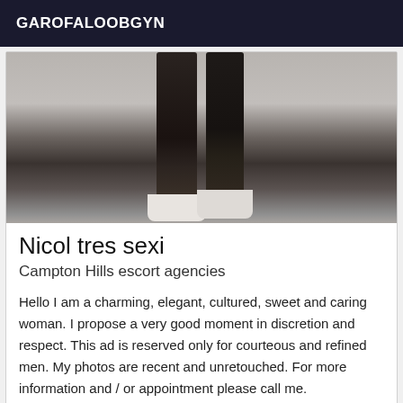GAROFALOOBGYN
[Figure (photo): Photo showing legs of a woman wearing dark stockings and clear high heels, standing on a grey floor against a light wall.]
Nicol tres sexi
Campton Hills escort agencies
Hello I am a charming, elegant, cultured, sweet and caring woman. I propose a very good moment in discretion and respect. This ad is reserved only for courteous and refined men. My photos are recent and unretouched. For more information and / or appointment please call me.
Online